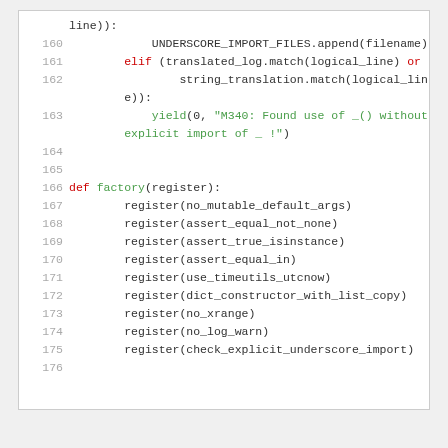[Figure (screenshot): Code snippet showing Python source code with line numbers 160-176. Lines 160-163 show conditional code using UNDERSCORE_IMPORT_FILES.append and yield statements. Lines 166-175 show a factory function registering various checker functions. Line 176 is empty.]